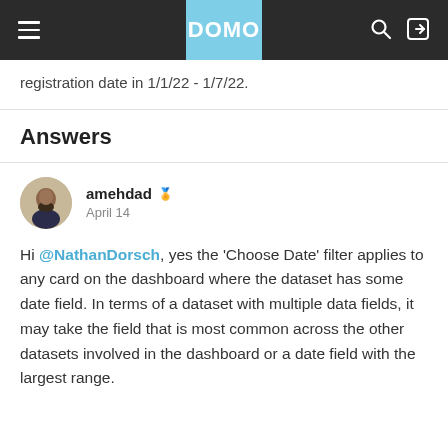DOMO
registration date in 1/1/22 - 1/7/22.
Answers
amehdad   April 14
Hi @NathanDorsch, yes the 'Choose Date' filter applies to any card on the dashboard where the dataset has some date field. In terms of a dataset with multiple data fields, it may take the field that is most common across the other datasets involved in the dashboard or a date field with the largest range.